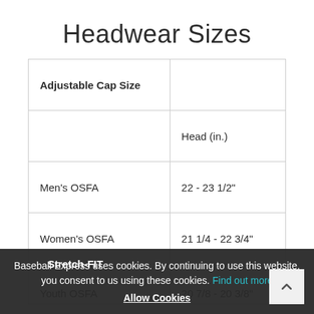Headwear Sizes
| Adjustable Cap Size |  |
| --- | --- |
|  | Head (in.) |
| Men's OSFA | 22 - 23 1/2" |
| Women's OSFA | 21 1/4 - 22 3/4" |
| Youth OSFA | 20 7/8 - 20 3/8" |
| Stretch-FIT |  |
Baseball Express uses cookies. By continuing to use this website, you consent to us using these cookies. Find out more
Allow Cookies